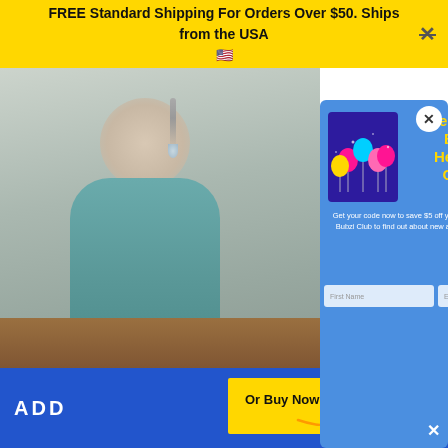FREE Standard Shipping For Orders Over $50. Ships from the USA 🇺🇸
[Figure (photo): Background photo of a person, partially visible, with blurred background]
Welcome to Bubzi! Here's $5 OFF 🤩
Get your code now to save $5 off your first purchase and join the Bubzi Club to find out about new arrivals and amazing promos!
First Name
Email address
ADD
Or Buy Now On amazon
OW